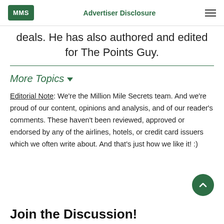MMS | Advertiser Disclosure
deals. He has also authored and edited for The Points Guy.
More Topics
Editorial Note: We're the Million Mile Secrets team. And we're proud of our content, opinions and analysis, and of our reader's comments. These haven't been reviewed, approved or endorsed by any of the airlines, hotels, or credit card issuers which we often write about. And that's just how we like it! :)
Join the Discussion!